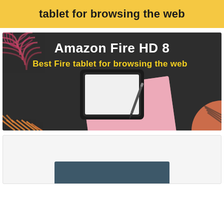tablet for browsing the web
[Figure (illustration): Dark background promotional image for Amazon Fire HD 8 tablet. White bold text at top reads 'Amazon Fire HD 8', below in yellow bold text 'Best Fire tablet for browsing the web'. Center shows a black tablet with white screen on a pink notebook/pad with a stylus pen. Bottom-left corner has orange/red diagonal stripes decoration. Top-left has pink/red curved stripes. Bottom-right has an orange/salmon semi-circle with stripes.]
[Figure (illustration): Partially visible card/box with a dark teal/blue-grey rectangle at the bottom, likely another product image starting to appear.]